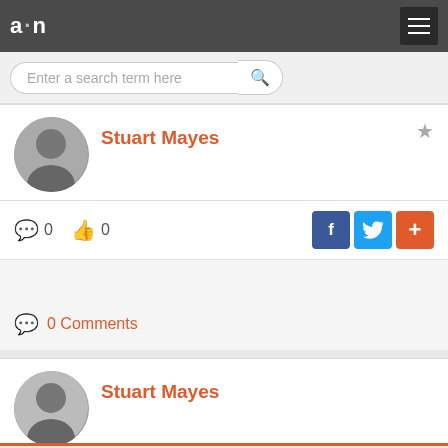a·n
Enter a search term here
Stuart Mayes
0   0
0 Comments
Stuart Mayes